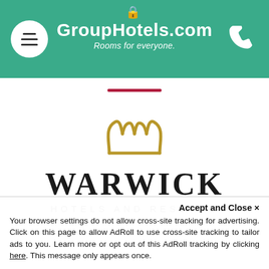GroupHotels.com — Rooms for everyone.
[Figure (logo): Warwick Hotels and Resorts logo: golden crown SVG mark above large serif WARWICK text with HOTELS AND RESORTS subtitle]
Accept and Close ×
Your browser settings do not allow cross-site tracking for advertising. Click on this page to allow AdRoll to use cross-site tracking to tailor ads to you. Learn more or opt out of this AdRoll tracking by clicking here. This message only appears once.